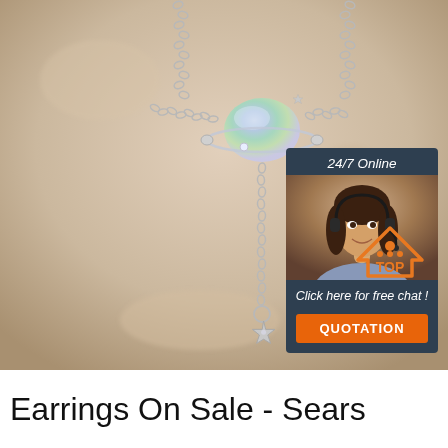[Figure (photo): Product photo of a silver necklace with an iridescent planet pendant and star charm, on a blurred beige background. Overlaid chat widget with agent photo, '24/7 Online' label, 'Click here for free chat!' text, and orange QUOTATION button. Orange TOP logo bottom right.]
Earrings On Sale - Sears